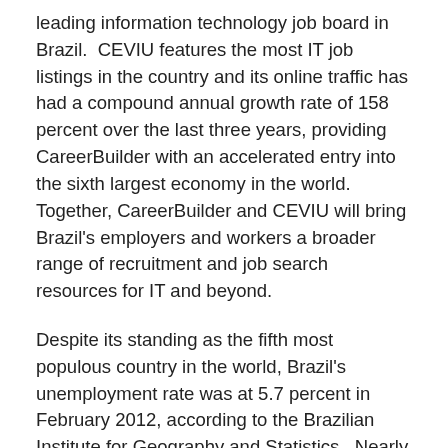leading information technology job board in Brazil.  CEVIU features the most IT job listings in the country and its online traffic has had a compound annual growth rate of 158 percent over the last three years, providing CareerBuilder with an accelerated entry into the sixth largest economy in the world.  Together, CareerBuilder and CEVIU will bring Brazil's employers and workers a broader range of recruitment and job search resources for IT and beyond.
Despite its standing as the fifth most populous country in the world, Brazil's unemployment rate was at 5.7 percent in February 2012, according to the Brazilian Institute for Geography and Statistics.  Nearly two-in-five Brazilians use the Internet, a statistic that is quickly increasing, according to Internet World Stats.
"Brazil is one of the fastest-growing emerging economies and a great inroad into the rest of South America," said Matt